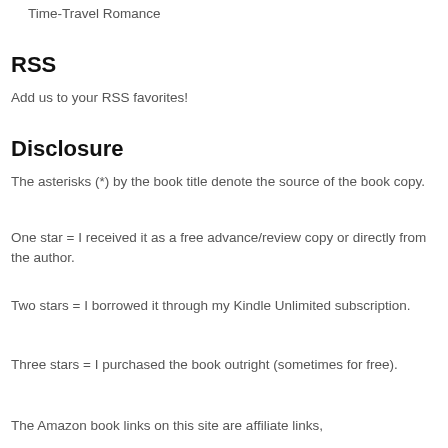Time-Travel Romance
RSS
Add us to your RSS favorites!
Disclosure
The asterisks (*) by the book title denote the source of the book copy.
One star = I received it as a free advance/review copy or directly from the author.
Two stars = I borrowed it through my Kindle Unlimited subscription.
Three stars = I purchased the book outright (sometimes for free).
The Amazon book links on this site are affiliate links,